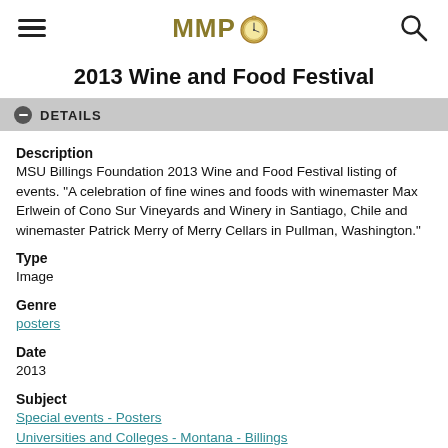[Figure (logo): MMPO logo with pocket watch clock icon, hamburger menu icon on left, search icon on right]
2013 Wine and Food Festival
DETAILS
Description
MSU Billings Foundation 2013 Wine and Food Festival listing of events. "A celebration of fine wines and foods with winemaster Max Erlwein of Cono Sur Vineyards and Winery in Santiago, Chile and winemaster Patrick Merry of Merry Cellars in Pullman, Washington."
Type
Image
Genre
posters
Date
2013
Subject
Special events - Posters
Universities and Colleges - Montana - Billings
Eastern Montana Normal School